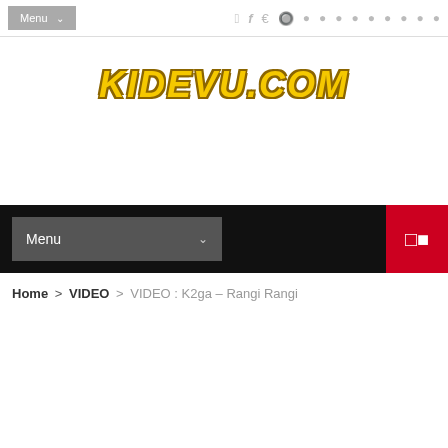Menu | social icons: f, Twitter, Dribbble, Vimeo, RSS, Behance, Vine, YouTube, Pinterest, SoundCloud
KIDEVU.COM
[Figure (screenshot): Black navigation bar with grey Menu dropdown button and red shuffle icon button on right]
Home > VIDEO > VIDEO : K2ga – Rangi Rangi